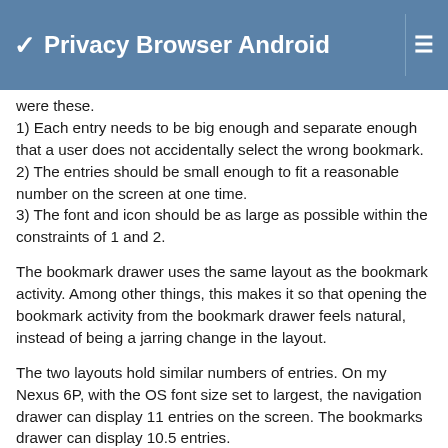Privacy Browser Android
were these.
1) Each entry needs to be big enough and separate enough that a user does not accidentally select the wrong bookmark.
2) The entries should be small enough to fit a reasonable number on the screen at one time.
3) The font and icon should be as large as possible within the constraints of 1 and 2.
The bookmark drawer uses the same layout as the bookmark activity. Among other things, this makes it so that opening the bookmark activity from the bookmark drawer feels natural, instead of being a jarring change in the layout.
The two layouts hold similar numbers of entries. On my Nexus 6P, with the OS font size set to largest, the navigation drawer can display 11 entries on the screen. The bookmarks drawer can display 10.5 entries.
Of course, different people prefer different layouts and font sizes. If there were a strong consensus among users I would not be opposed to altering the layout of the bookmarks drawer and activity.
For comparison purposes, the options menu (which is managed by the OS) uses a larger font than the navigation drawer. I have